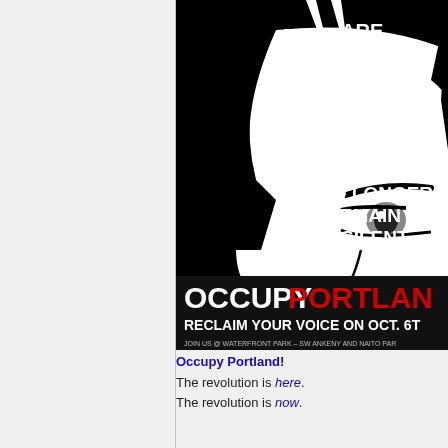[Figure (illustration): Occupy Portland protest poster. Black and white graphic of a woman's face with bold text: 'WE ARE THE 99% WE WILL NO LONGER REMAIN SILENT'. Bottom banner in black with white text 'OCCUPY' and red text 'PORTLAN[D]', below that 'RECLAIM YOUR VOICE ON OCT. 6[TH]', and small text 'JOIN US @ WATERFRONT PARK - SW ANKENY AND NAITO PAR[KWAY]'.]
Occupy Portland!
The revolution is here. The revolution is now.